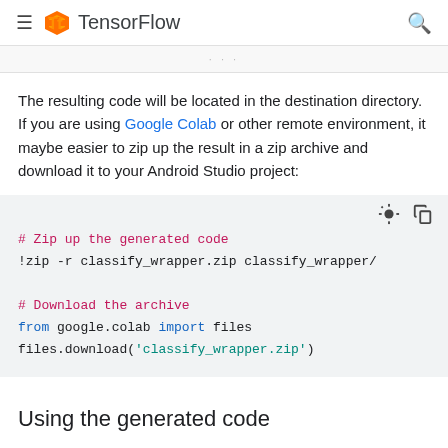≡ TensorFlow 🔍
The resulting code will be located in the destination directory. If you are using Google Colab or other remote environment, it maybe easier to zip up the result in a zip archive and download it to your Android Studio project:
[Figure (screenshot): Code block with Python/shell commands to zip and download generated code. Shows: # Zip up the generated code, !zip -r classify_wrapper.zip classify_wrapper/, # Download the archive, from google.colab import files, files.download('classify_wrapper.zip')]
Using the generated code